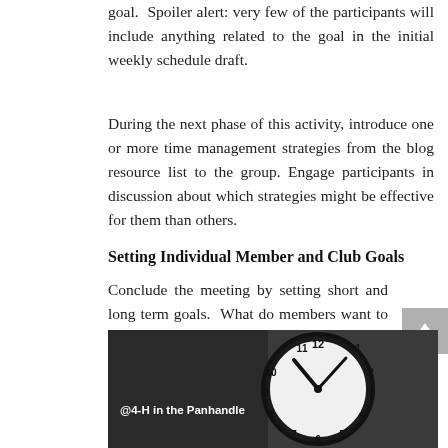goal.  Spoiler alert: very few of the participants will include anything related to the goal in the initial weekly schedule draft.
During the next phase of this activity, introduce one or more time management strategies from the blog resource list to the group. Engage participants in discussion about which strategies might be effective for them than others.
Setting Individual Member and Club Goals
Conclude the meeting by setting short and long term goals.  What do members want to accomplish by the next club meeting?  What goals do club members want to achieve for the year?
[Figure (photo): Black and white photo of an analog alarm clock face showing approximately 10:10 time, with the text '@4-H in the Panhandle' overlaid in the lower left corner.]